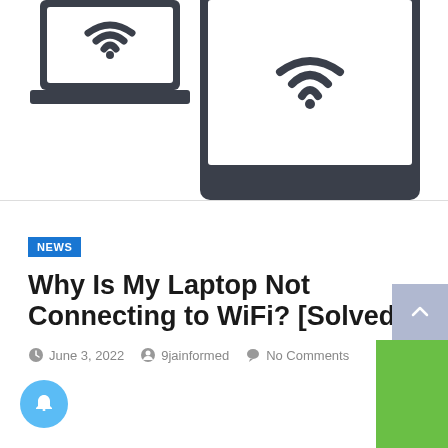[Figure (illustration): Hero image showing laptop and tablet/phone with WiFi symbols on dark gray devices against white background]
NEWS
Why Is My Laptop Not Connecting to WiFi? [Solved]
June 3, 2022  9jainformed  No Comments